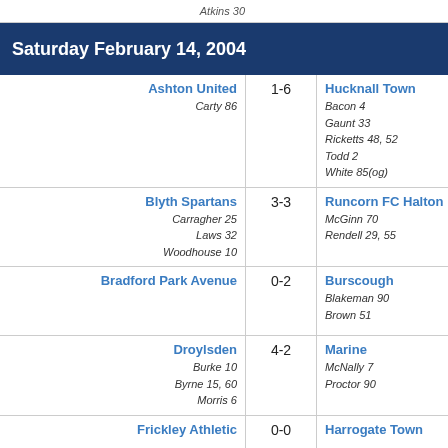Atkins 30
Saturday February 14, 2004
| Home | Score | Away |
| --- | --- | --- |
| Ashton United
Carty 86 | 1-6 | Hucknall Town
Bacon 4
Gaunt 33
Ricketts 48, 52
Todd 2
White 85(og) |
| Blyth Spartans
Carragher 25
Laws 32
Woodhouse 10 | 3-3 | Runcorn FC Halton
McGinn 70
Rendell 29, 55 |
| Bradford Park Avenue | 0-2 | Burscough
Blakeman 90
Brown 51 |
| Droylsden
Burke 10
Byrne 15, 60
Morris 6 | 4-2 | Marine
McNally 7
Proctor 90 |
| Frickley Athletic | 0-0 | Harrogate Town |